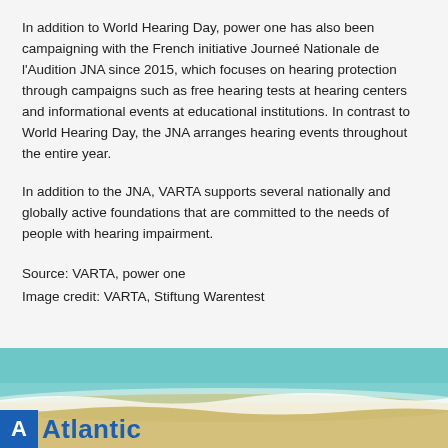In addition to World Hearing Day, power one has also been campaigning with the French initiative Journeé Nationale de l'Audition JNA since 2015, which focuses on hearing protection through campaigns such as free hearing tests at hearing centers and informational events at educational institutions. In contrast to World Hearing Day, the JNA arranges hearing events throughout the entire year.
In addition to the JNA, VARTA supports several nationally and globally active foundations that are committed to the needs of people with hearing impairment.
Source: VARTA, power one
Image credit: VARTA, Stiftung Warentest
[Figure (photo): Beach scene with ocean waves on sand, with Atlantic logo (blue square with white A letter and blue Atlantic text) at the bottom left]